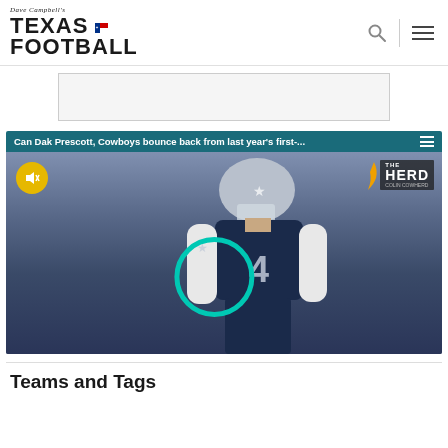Dave Campbell's Texas Football
[Figure (screenshot): Video embed with teal top bar showing title 'Can Dak Prescott, Cowboys bounce back from last year's first-...' and a photo of Dallas Cowboys quarterback #4 in navy blue uniform with silver helmet, with The Herd with Colin Cowherd logo in top right, yellow mute button in top left, and teal circular ring overlay]
Teams and Tags